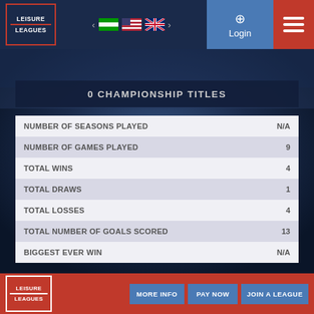LEISURE LEAGUES | Login | Menu
0 CHAMPIONSHIP TITLES
|  |  |
| --- | --- |
| NUMBER OF SEASONS PLAYED | N/A |
| NUMBER OF GAMES PLAYED | 9 |
| TOTAL WINS | 4 |
| TOTAL DRAWS | 1 |
| TOTAL LOSSES | 4 |
| TOTAL NUMBER OF GOALS SCORED | 13 |
| BIGGEST EVER WIN | N/A |
LEISURE LEAGUES | MORE INFO | PAY NOW | JOIN A LEAGUE